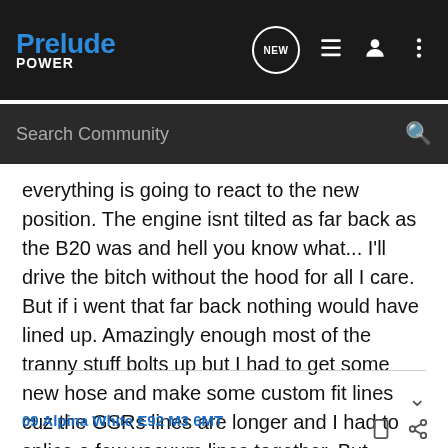Prelude Power — navigation bar with Search Community
everything is going to react to the new position. The engine isnt tilted as far back as the B20 was and hell you know what... I'll drive the bitch without the hood for all I care. But if i went that far back nothing would have lined up. Amazingly enough most of the tranny stuff bolts up but I had to get some new hose and make some custom fit lines cuz the GSRs lines are longer and I had to splice a few vacuum lines together. But otherwise its looking ok. Suspension is a tight fit as well. Im just blown away at how well its going. Why people dont do the B18 instead is beyond me. Im sure the H22 is a huge headache.
09 Alpina White E92 M3 6MT